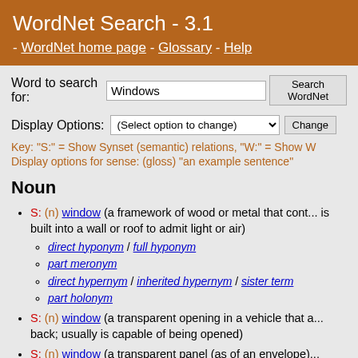WordNet Search - 3.1 - WordNet home page - Glossary - Help
Word to search for: Windows [Search WordNet button]
Display Options: (Select option to change) [Change button]
Key: "S:" = Show Synset (semantic) relations, "W:" = Show W... Display options for sense: (gloss) "an example sentence"
Noun
S: (n) window (a framework of wood or metal that cont... is built into a wall or roof to admit light or air)
direct hyponym / full hyponym
part meronym
direct hypernym / inherited hypernym / sister term
part holonym
S: (n) window (a transparent opening in a vehicle that a... back; usually is capable of being opened)
S: (n) window (a transparent panel (as of an envelope)... opaque material)